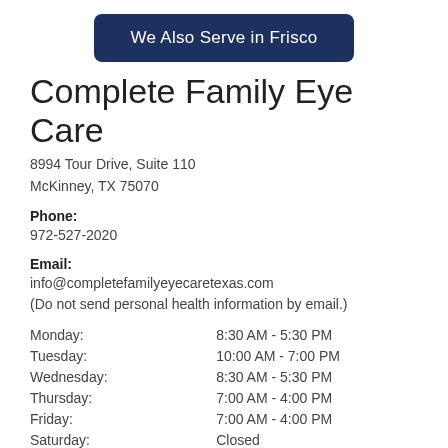[Figure (other): Dark navy blue button with rounded corners and white text reading 'We Also Serve in Frisco']
Complete Family Eye Care
8994 Tour Drive, Suite 110
McKinney, TX 75070
Phone:
972-527-2020
Email:
info@completefamilyeyecaretexas.com
(Do not send personal health information by email.)
| Day | Hours |
| --- | --- |
| Monday: | 8:30 AM - 5:30 PM |
| Tuesday: | 10:00 AM - 7:00 PM |
| Wednesday: | 8:30 AM - 5:30 PM |
| Thursday: | 7:00 AM - 4:00 PM |
| Friday: | 7:00 AM - 4:00 PM |
| Saturday: | Closed |